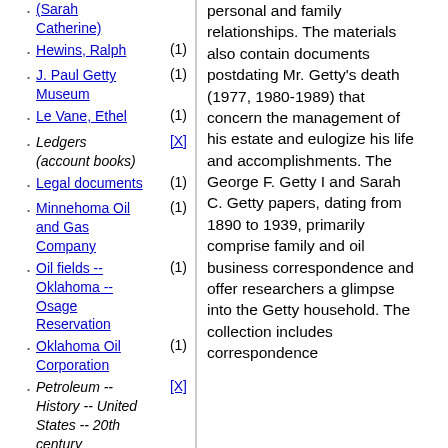(Sarah Catherine)
Hewins, Ralph (1)
J. Paul Getty Museum (1)
Le Vane, Ethel (1)
Ledgers (account books) [X]
Legal documents (1)
Minnehoma Oil and Gas Company (1)
Oil fields -- Oklahoma -- Osage Reservation (1)
Oklahoma Oil Corporation (1)
Petroleum -- History -- United States -- 20th century [X]
Photographs (1)
Publications (1)
Reports (1)
San Joaquin Oil Company (1)
personal and family relationships. The materials also contain documents postdating Mr. Getty's death (1977, 1980-1989) that concern the management of his estate and eulogize his life and accomplishments. The George F. Getty I and Sarah C. Getty papers, dating from 1890 to 1939, primarily comprise family and oil business correspondence and offer researchers a glimpse into the Getty household. The collection includes correspondence